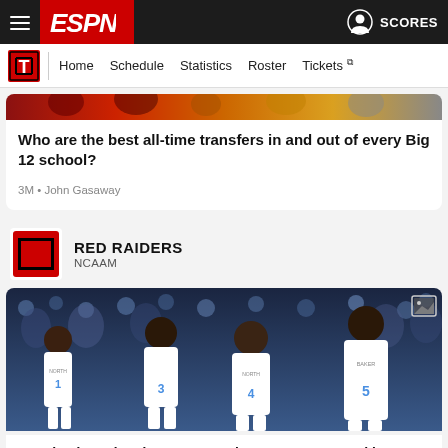ESPN — SCORES
[Figure (screenshot): ESPN mobile website header with hamburger menu, ESPN logo on red background, user icon and SCORES text]
[Figure (photo): Partial image strip showing basketball players in red and yellow jerseys]
Who are the best all-time transfers in and out of every Big 12 school?
3M • John Gasaway
RED RAIDERS NCAAM
[Figure (photo): UNC basketball players in white jerseys on the court. Player #1 and #5 visible among others. Arena crowd in background.]
UNC leads updated Way-Too-Early Top 25 men's rankings